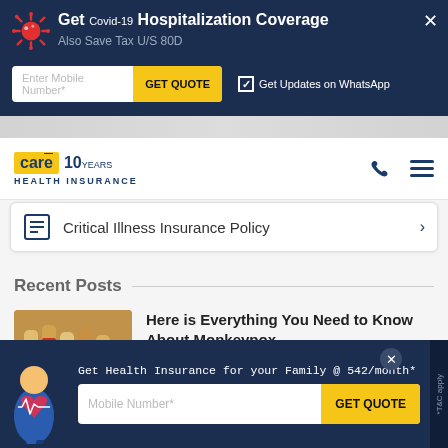Get Covid-19 Hospitalization Coverage
Also Save Tax U/S 80D
Enter Mobile Number*  GET QUOTE  ✓ Get Updates on WhatsApp
[Figure (logo): Care Health Insurance logo with '10 years' badge]
Critical Illness Insurance Policy
Recent Posts
[Figure (photo): Photo of monkeypox-related medical vials and supplies]
Here is Everything You Need to Know About Monkeypox
PUBLISHED ON  3 Aug 2022
Get Health Insurance for your Family @ 542/month*
Mobile Number*  GET QUOTE
*T&C apply